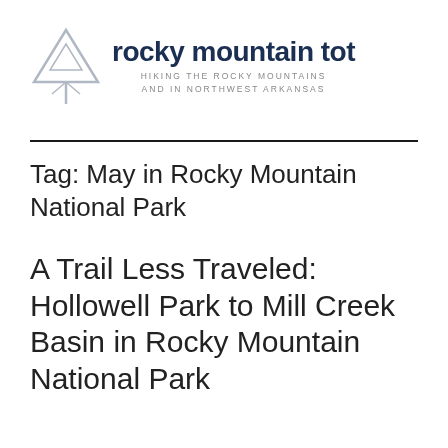[Figure (logo): Rocky Mountain Tot logo: a stylized triangle tree outline in gray on the left, with bold dark blue text 'rocky mountain tot' and subtitle 'HIKING THE ROCKY MOUNTAINS AND IN NORTHWEST ARKANSAS']
Tag: May in Rocky Mountain National Park
A Trail Less Traveled: Hollowell Park to Mill Creek Basin in Rocky Mountain National Park